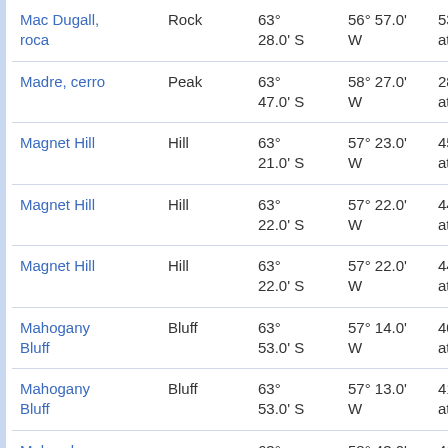| Name | Type | Latitude | Longitude | Other |
| --- | --- | --- | --- | --- |
| Mac Dugall, roca | Rock | 63° 28.0' S | 56° 57.0' W | 53.6 at 64 |
| Madre, cerro | Peak | 63° 47.0' S | 58° 27.0' W | 28.5 at 24 |
| Magnet Hill | Hill | 63° 21.0' S | 57° 23.0' W | 45.5 at 36 |
| Magnet Hill | Hill | 63° 22.0' S | 57° 22.0' W | 44.5 at 38 |
| Magnet Hill | Hill | 63° 22.0' S | 57° 22.0' W | 44.5 at 38 |
| Mahogany Bluff | Bluff | 63° 53.0' S | 57° 14.0' W | 40.3 at 12 |
| Mahogany Bluff | Bluff | 63° 53.0' S | 57° 13.0' W | 41.0 at 12 |
| Malorad Glacier |  | 63° 34.0' S | 58° 43.0' W | 41.6 at 28 |